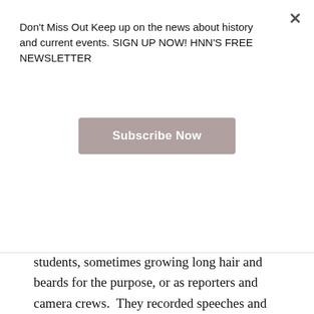Don't Miss Out Keep up on the news about history and current events. SIGN UP NOW! HNN'S FREE NEWSLETTER
Subscribe Now
dissertation by former Army Intelligence captain Christopher H. Pyle). They posed as students, sometimes growing long hair and beards for the purpose, or as reporters and camera crews.  They recorded speeches and conversations on concealed tape recorders. The Army lied about their purposes, claiming they were interested solely in “civil disturbance planning.”